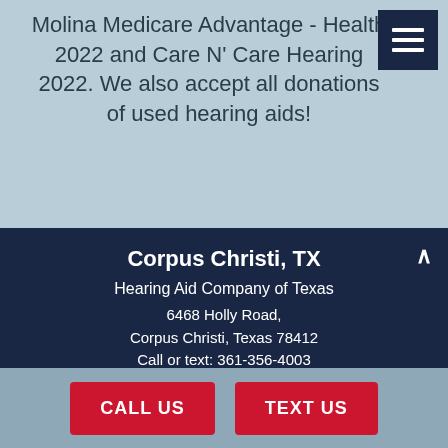Molina Medicare Advantage - Health 2022 and Care N' Care Hearing 2022. We also accept all donations of used hearing aids!
Corpus Christi, TX
Hearing Aid Company of Texas
6468 Holly Road,
Corpus Christi, Texas 78412
Call or text: 361-356-4003
Mon-Fri: 9am-5pm
GET DIRECTIONS
CALL US
TEXT US